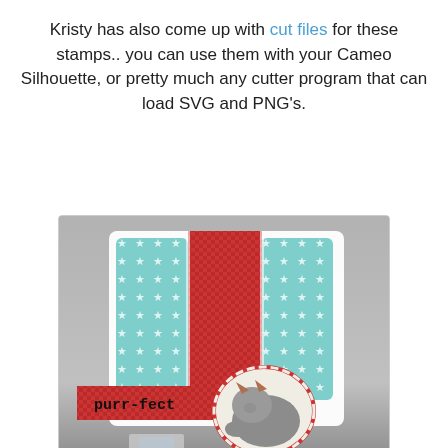Kristy has also come up with cut files for these stamps.. you can use them with your Cameo Silhouette, or pretty much any cutter program that can load SVG and PNG's.
[Figure (photo): A handmade easel card with teal star-patterned panels on left and right, a red gingham center panel, a red gingham banner reading 'purr-fect', and a decorative die-cut medallion featuring a sleeping gray cat with orange ears.]